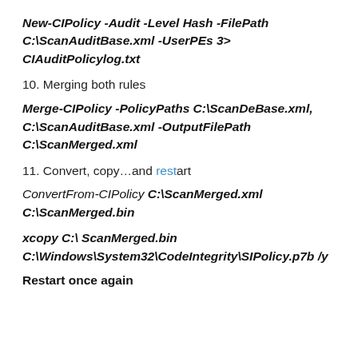New-CIPolicy -Audit -Level Hash -FilePath C:\ScanAuditBase.xml -UserPEs 3> CIAuditPolicylog.txt
10. Merging both rules
Merge-CIPolicy -PolicyPaths C:\ScanDeBase.xml, C:\ScanAuditBase.xml -OutputFilePath C:\ScanMerged.xml
11. Convert, copy…and restart
ConvertFrom-CIPolicy C:\ScanMerged.xml C:\ScanMerged.bin
xcopy C:\ ScanMerged.bin C:\Windows\System32\CodeIntegrity\SIPolicy.p7b /y
Restart once again